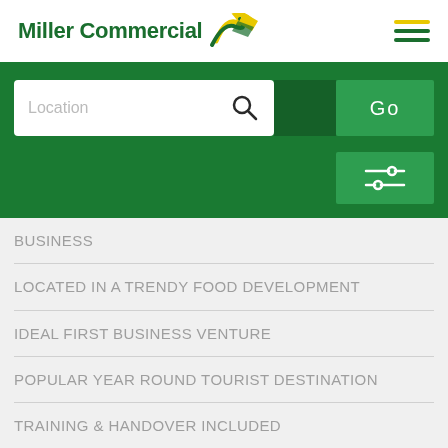Miller Commercial
[Figure (screenshot): Miller Commercial logo with green and yellow swoosh icon and hamburger menu icon]
[Figure (screenshot): Green search bar with Location placeholder, search icon, Go button, and filter/sliders button]
BUSINESS
LOCATED IN A TRENDY FOOD DEVELOPMENT
IDEAL FIRST BUSINESS VENTURE
POPULAR YEAR ROUND TOURIST DESTINATION
TRAINING & HANDOVER INCLUDED